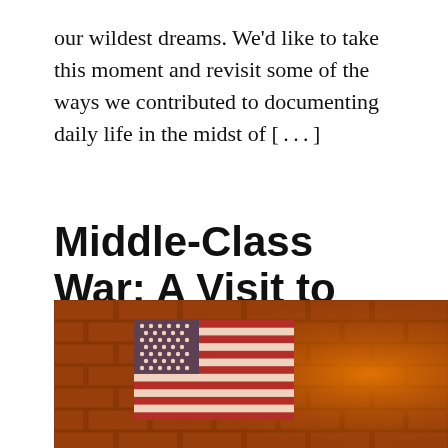our wildest dreams. We'd like to take this moment and revisit some of the ways we contributed to documenting daily life in the midst of [...]
Middle-Class War: A Visit to Staten Island's Autonomous Zone
A.M. Gittlitz — December 20, 2020
[Figure (photo): Photo of an American flag in front of a brick wall with warm orange tones]